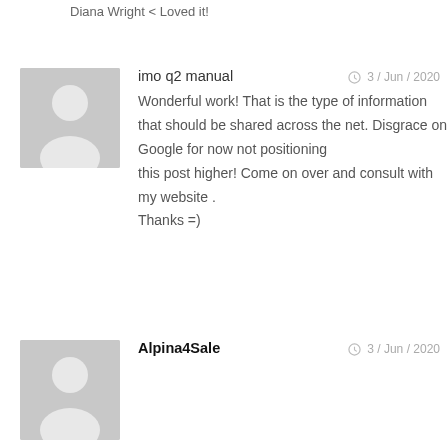Diana Wright < Loved it!
imo q2 manual · 3 / Jun / 2020
Wonderful work! That is the type of information that should be shared across the net. Disgrace on Google for now not positioning this post higher! Come on over and consult with my website . Thanks =)
Alpina4Sale · 3 / Jun / 2020